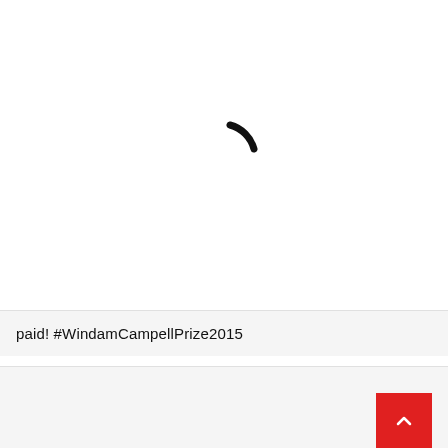[Figure (other): Loading spinner or partial circular arc icon, black curved stroke, centered in white area]
paid! #WindamCampellPrize2015
CATEGORIES